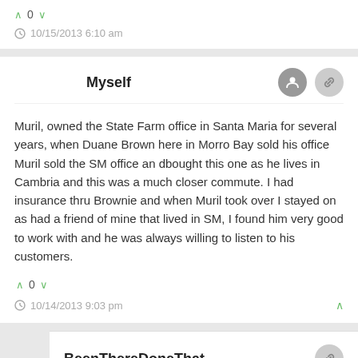^ 0 v
10/15/2013 6:10 am
Myself
Muril, owned the State Farm office in Santa Maria for several years, when Duane Brown here in Morro Bay sold his office Muril sold the SM office and bought this one as he lives in Cambria and this was a much closer commute. I had insurance thru Brownie and when Muril took over I stayed on as had a friend of mine that lived in SM, I found him very good to work with and he was always willing to listen to his customers.
^ 0 v
10/14/2013 9:03 pm
BeenThereDoneThat